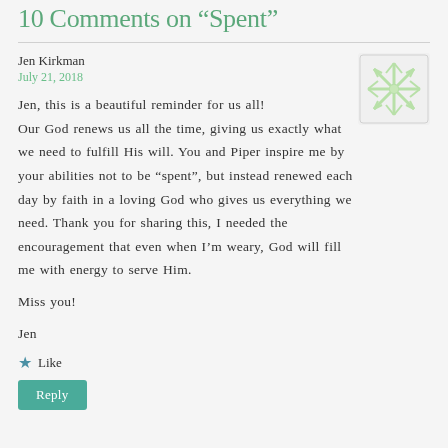10 Comments on “Spent”
Jen Kirkman
July 21, 2018
Jen, this is a beautiful reminder for us all! Our God renews us all the time, giving us exactly what we need to fulfill His will. You and Piper inspire me by your abilities not to be “spent”, but instead renewed each day by faith in a loving God who gives us everything we need. Thank you for sharing this, I needed the encouragement that even when I’m weary, God will fill me with energy to serve Him.

Miss you!

Jen
Like
Reply